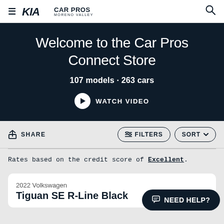KIA CAR PROS MORENO VALLEY
Welcome to the Car Pros Connect Store
107 models · 263 cars
WATCH VIDEO
SHARE
FILTERS
SORT
Rates based on the credit score of Excellent.
2022 Volkswagen Tiguan SE R-Line Black
NEED HELP?